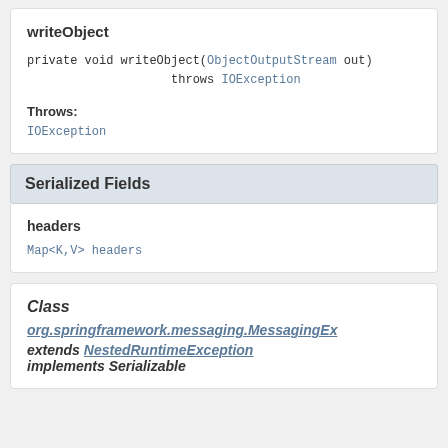writeObject
private void writeObject(ObjectOutputStream out)
                throws IOException
Throws:
IOException
Serialized Fields
headers
Map<K,V> headers
Class
org.springframework.messaging.MessagingEx…
extends NestedRuntimeException
implements Serializable